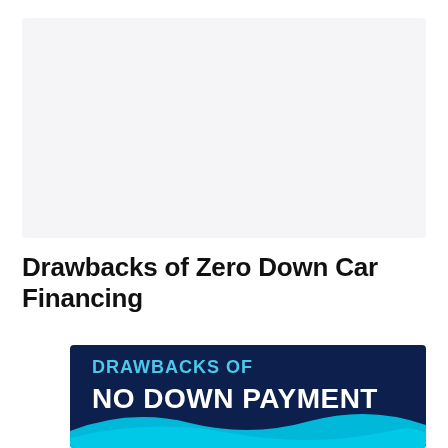[Figure (other): Empty light grey placeholder image area at the top of the page]
Drawbacks of Zero Down Car Financing
[Figure (infographic): Dark navy blue banner infographic with text 'DRAWBACKS OF NO DOWN PAYMENT' and a teal/cyan wave graphic at bottom]